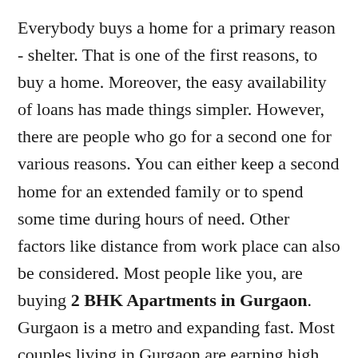Everybody buys a home for a primary reason - shelter. That is one of the first reasons, to buy a home. Moreover, the easy availability of loans has made things simpler. However, there are people who go for a second one for various reasons. You can either keep a second home for an extended family or to spend some time during hours of need. Other factors like distance from work place can also be considered. Most people like you, are buying 2 BHK Apartments in Gurgaon. Gurgaon is a metro and expanding fast. Most couples living in Gurgaon are earning high. So, the basic needs of buying an apartment or house, has changed to luxury. Read on to know more. How to Choose A Luxury Home? Consider the interiors, facilities, and amenities while buying a home today. It is not just about the rooms, walls, and carpet area. It is much more than that. Krisumi Waterfall Residences is a property that is located